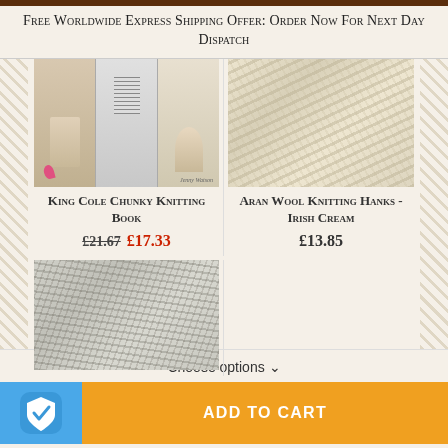Free Worldwide Express Shipping Offer: Order Now For Next Day Dispatch
[Figure (photo): King Cole Chunky Knitting Book cover showing three female models wearing knitted garments]
King Cole Chunky Knitting Book
£21.67  £17.33
[Figure (photo): Close-up of cream/ivory colored Aran wool knitting hanks]
Aran Wool Knitting Hanks - Irish Cream
£13.85
[Figure (photo): Close-up of natural gray/white wool yarn hanks with textured fibers]
Choose options ∨
ADD TO CART